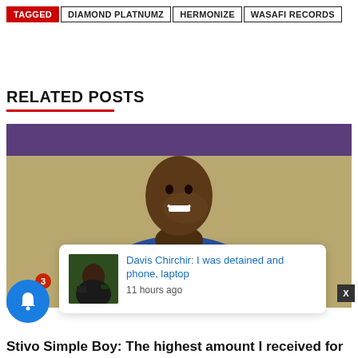TAGGED | DIAMOND PLATNUMZ | HERMONIZE | WASAFI RECORDS
RELATED POSTS
[Figure (photo): Man smiling, wearing a blue and purple military-style jacket with gold buttons, standing indoors with blurred background]
Davis Chirchir: I was detained and phone, laptop
11 hours ago
Stivo Simple Boy: The highest amount I received for